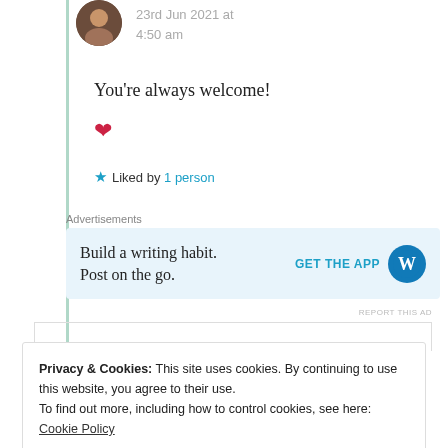23rd Jun 2021 at 4:50 am
You’re always welcome!
♥
★ Liked by 1 person
Advertisements
[Figure (other): WordPress app advertisement banner: 'Build a writing habit. Post on the go.' with GET THE APP button and WordPress logo]
REPORT THIS AD
Privacy & Cookies: This site uses cookies. By continuing to use this website, you agree to their use.
To find out more, including how to control cookies, see here: Cookie Policy
Close and accept
Congratulations!!! I loved your answers, Suma and